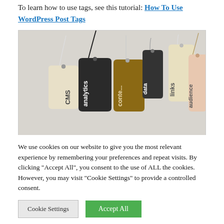To learn how to use tags, see this tutorial: How To Use WordPress Post Tags
[Figure (photo): Photo of multiple hanging price-tag style labels with words written on them: CMS, analytics, content, data, links, audience — on a gray background]
We use cookies on our website to give you the most relevant experience by remembering your preferences and repeat visits. By clicking "Accept All", you consent to the use of ALL the cookies. However, you may visit "Cookie Settings" to provide a controlled consent.